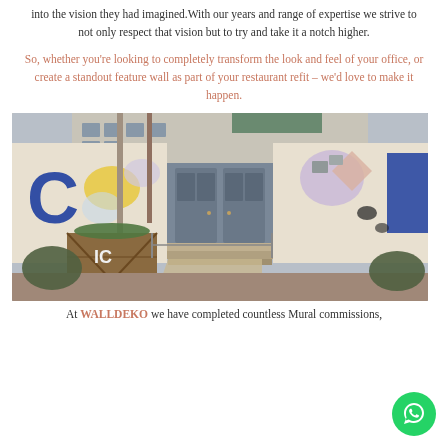into the vision they had imagined. With our years and range of expertise we strive to not only respect that vision but to try and take it a notch higher.
So, whether you're looking to completely transform the look and feel of your office, or create a standout feature wall as part of your restaurant refit – we'd love to make it happen.
[Figure (photo): Exterior photo of a building entrance with large colorful murals on either side of the doorway, trees in the foreground, and a wooden planter box labeled 'IC' in front.]
At WALLDEKO we have completed countless Mural commissions, from hotels, restaurants, bars, private walls, Fashion, Make...